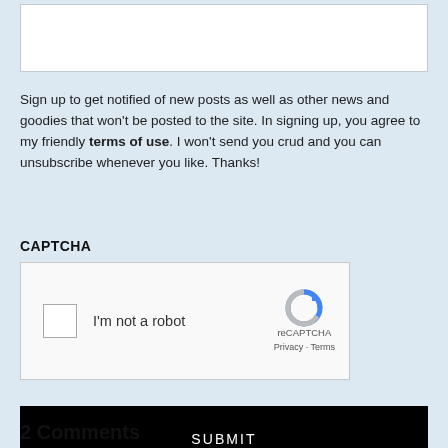[Figure (screenshot): Empty text input box with white background and light border]
Sign up to get notified of new posts as well as other news and goodies that won't be posted to the site. In signing up, you agree to my friendly terms of use. I won't send you crud and you can unsubscribe whenever you like. Thanks!
CAPTCHA
[Figure (screenshot): reCAPTCHA widget with checkbox labeled 'I'm not a robot' and reCAPTCHA logo with Privacy - Terms links]
[Figure (screenshot): Black SUBMIT button]
2 Comments